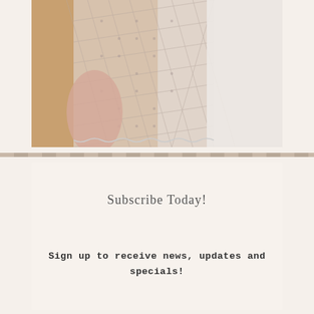[Figure (photo): A woman wearing a white lace short-sleeved top, photographed from the side/back. The lace has a diamond/geometric pattern. Background appears warm-toned with soft white elements.]
Subscribe Today!
Sign up to receive news, updates and specials!